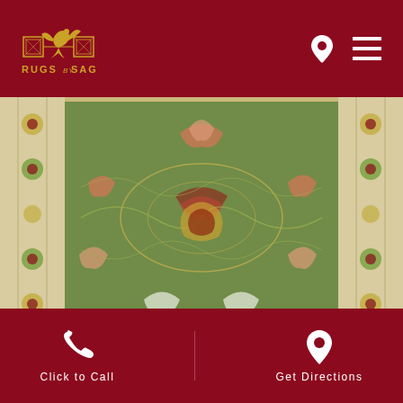Rugs by Saga
[Figure (photo): Close-up of a green Persian-style rug with floral and vine patterns, ivory border with sunflower motifs]
[Figure (photo): Partial view of a contemporary geometric rug with brown/beige tones and grid patterns]
Click to Call   Get Directions